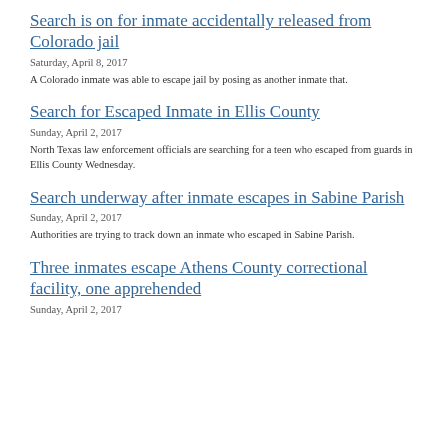Search is on for inmate accidentally released from Colorado jail
Saturday, April 8, 2017
A Colorado inmate was able to escape jail by posing as another inmate that.
Search for Escaped Inmate in Ellis County
Sunday, April 2, 2017
North Texas law enforcement officials are searching for a teen who escaped from guards in Ellis County Wednesday.
Search underway after inmate escapes in Sabine Parish
Sunday, April 2, 2017
Authorities are trying to track down an inmate who escaped in Sabine Parish.
Three inmates escape Athens County correctional facility, one apprehended
Sunday, April 2, 2017